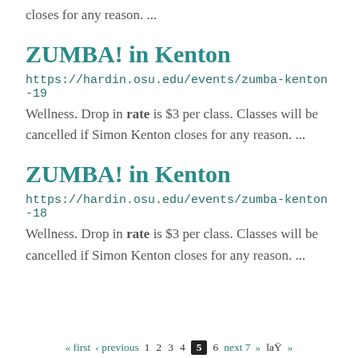closes for any reason. ...
ZUMBA! in Kenton
https://hardin.osu.edu/events/zumba-kenton-19
Wellness. Drop in rate is $3 per class. Classes will be cancelled if Simon Kenton closes for any reason. ...
ZUMBA! in Kenton
https://hardin.osu.edu/events/zumba-kenton-18
Wellness. Drop in rate is $3 per class. Classes will be cancelled if Simon Kenton closes for any reason. ...
« first ‹ previous 1 2 3 4 5 6 next 7 last »